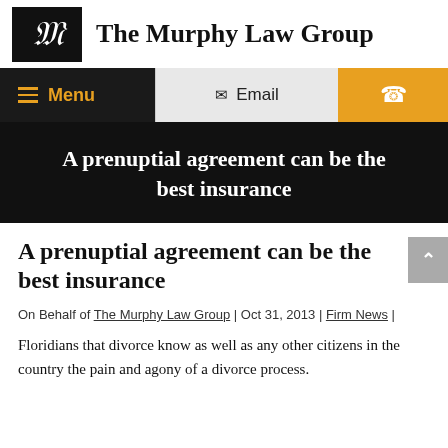The Murphy Law Group
[Figure (logo): The Murphy Law Group logo: black square with stylized cursive M in white, next to bold text 'The Murphy Law Group']
Menu | Email | Phone
A prenuptial agreement can be the best insurance
A prenuptial agreement can be the best insurance
On Behalf of The Murphy Law Group | Oct 31, 2013 | Firm News |
Floridians that divorce know as well as any other citizens in the country the pain and agony of a divorce process.